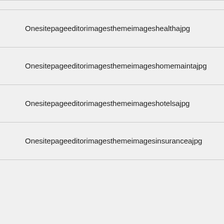Onesitepageeditorimagesthemeimageshealthajpg
Onesitepageeditorimagesthemeimageshomemaintajpg
Onesitepageeditorimagesthemeimageshotelsajpg
Onesitepageeditorimagesthemeimagesinsuranceajpg